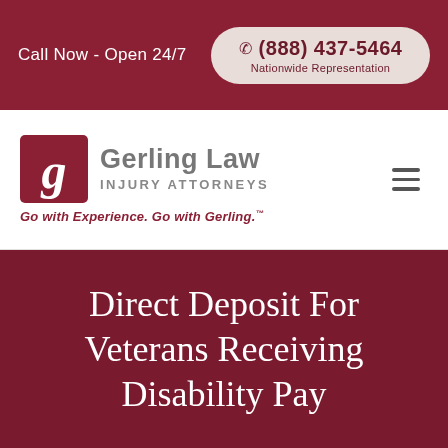Call Now - Open 24/7 | ☎ (888) 437-5464 | Nationwide Representation
[Figure (logo): Gerling Law Injury Attorneys logo with stylized G in dark red square, firm name in gray, tagline 'Go with Experience. Go with Gerling.']
Direct Deposit For Veterans Receiving Disability Pay